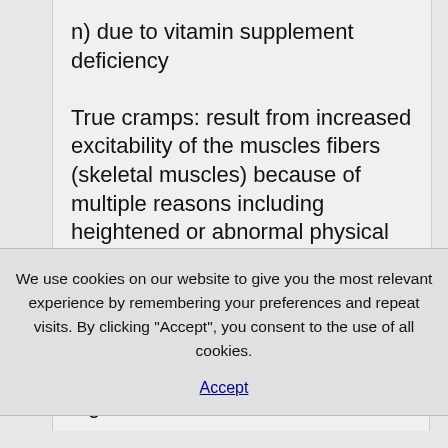n) due to vitamin supplement deficiency

True cramps: result from increased excitability of the muscles fibers (skeletal muscles) because of multiple reasons including heightened or abnormal physical activity as well as exercise. The increase in
We use cookies on our website to give you the most relevant experience by remembering your preferences and repeat visits. By clicking “Accept”, you consent to the use of all cookies.
Accept
legs.